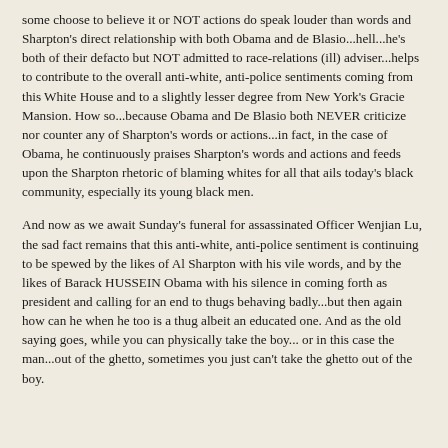some choose to believe it or NOT actions do speak louder than words and Sharpton's direct relationship with both Obama and de Blasio...hell...he's both of their defacto but NOT admitted to race-relations (ill) adviser...helps to contribute to the overall anti-white, anti-police sentiments coming from this White House and to a slightly lesser degree from New York's Gracie Mansion. How so...because Obama and De Blasio both NEVER criticize nor counter any of Sharpton's words or actions...in fact, in the case of Obama, he continuously praises Sharpton's words and actions and feeds upon the Sharpton rhetoric of blaming whites for all that ails today's black community, especially its young black men.
And now as we await Sunday's funeral for assassinated Officer Wenjian Lu, the sad fact remains that this anti-white, anti-police sentiment is continuing to be spewed by the likes of Al Sharpton with his vile words, and by the likes of Barack HUSSEIN Obama with his silence in coming forth as president and calling for an end to thugs behaving badly...but then again how can he when he too is a thug albeit an educated one. And as the old saying goes, while you can physically take the boy... or in this case the man...out of the ghetto, sometimes you just can't take the ghetto out of the boy.